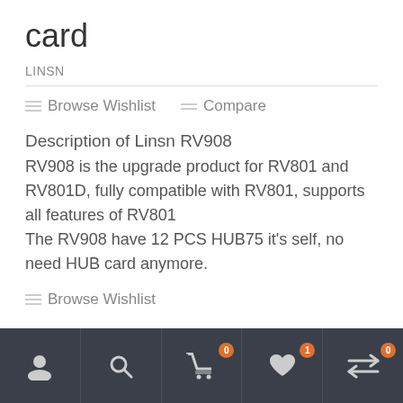card
LINSN
Browse Wishlist
Compare
Description of Linsn RV908
RV908 is the upgrade product for RV801 and RV801D, fully compatible with RV801, supports all features of RV801
The RV908 have 12 PCS HUB75 it's self, no need HUB card anymore.
Browse Wishlist
Navigation bar with icons: user, search, cart (0), wishlist (1), compare (0)